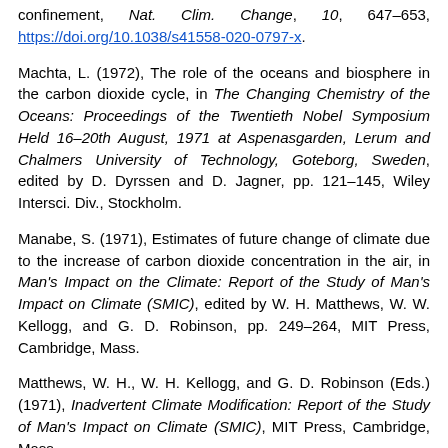confinement, Nat. Clim. Change, 10, 647–653, https://doi.org/10.1038/s41558-020-0797-x.
Machta, L. (1972), The role of the oceans and biosphere in the carbon dioxide cycle, in The Changing Chemistry of the Oceans: Proceedings of the Twentieth Nobel Symposium Held 16–20th August, 1971 at Aspenasgarden, Lerum and Chalmers University of Technology, Goteborg, Sweden, edited by D. Dyrssen and D. Jagner, pp. 121–145, Wiley Intersci. Div., Stockholm.
Manabe, S. (1971), Estimates of future change of climate due to the increase of carbon dioxide concentration in the air, in Man's Impact on the Climate: Report of the Study of Man's Impact on Climate (SMIC), edited by W. H. Matthews, W. W. Kellogg, and G. D. Robinson, pp. 249–264, MIT Press, Cambridge, Mass.
Matthews, W. H., W. H. Kellogg, and G. D. Robinson (Eds.) (1971), Inadvertent Climate Modification: Report of the Study of Man's Impact on Climate (SMIC), MIT Press, Cambridge, Mass.
Min, C., et al. (2019), Sea ice export through the Fram Strait derived from a combined model and satellite data